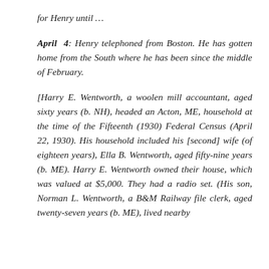for Henry until …
April 4: Henry telephoned from Boston. He has gotten home from the South where he has been since the middle of February.
[Harry E. Wentworth, a woolen mill accountant, aged sixty years (b. NH), headed an Acton, ME, household at the time of the Fifteenth (1930) Federal Census (April 22, 1930). His household included his [second] wife (of eighteen years), Ella B. Wentworth, aged fifty-nine years (b. ME). Harry E. Wentworth owned their house, which was valued at $5,000. They had a radio set. (His son, Norman L. Wentworth, a B&M Railway file clerk, aged twenty-seven years (b. ME), lived nearby